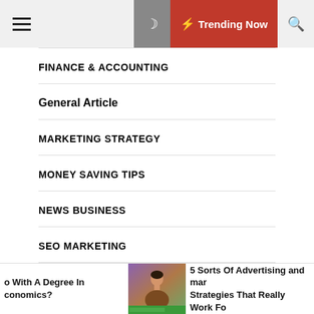Trending Now
FINANCE & ACCOUNTING
General Article
MARKETING STRATEGY
MONEY SAVING TIPS
NEWS BUSINESS
SEO MARKETING
o With A Degree In conomics?
[Figure (photo): A woman news anchor on TV in front of a purple/brown studio background]
5 Sorts Of Advertising and mar Strategies That Really Work Fo